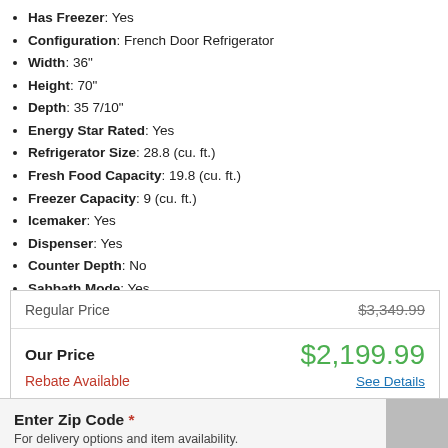Has Freezer: Yes
Configuration: French Door Refrigerator
Width: 36"
Height: 70"
Depth: 35 7/10"
Energy Star Rated: Yes
Refrigerator Size: 28.8 (cu. ft.)
Fresh Food Capacity: 19.8 (cu. ft.)
Freezer Capacity: 9 (cu. ft.)
Icemaker: Yes
Dispenser: Yes
Counter Depth: No
Sabbath Mode: Yes
WiFi Connected: No
See More
| Label | Value |
| --- | --- |
| Regular Price | $3,349.99 |
| Our Price | $2,199.99 |
| Rebate Available | See Details |
Enter Zip Code * For delivery options and item availability.